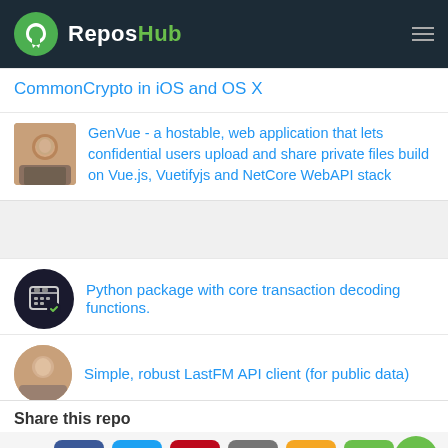ReposHub
CommonCrypto in iOS and OS X
GenVue - a hostable, web application that lets confidential users upload and share private files build on Vue.js, Vuetifyjs and NetCore WebAPI stack
Python package with core transaction decoding functions.
Simple, robust LastFM API client (for public data)
Share this repo
[Figure (infographic): Social share buttons: Facebook, Twitter, Pinterest, Email, SMS, Share]